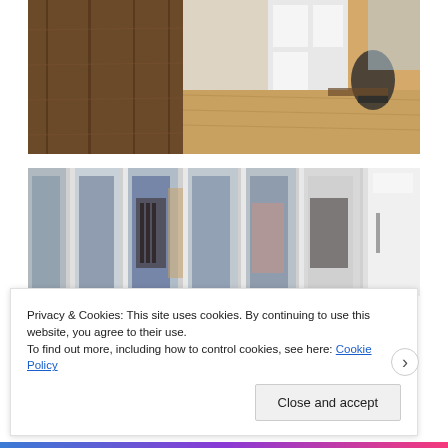[Figure (photo): Interior photo showing wooden panel wardrobe doors on the left and a modern open office/living space with white built-in cabinetry, wooden floor, and dark chairs in the background]
[Figure (photo): Interior photo showing a walk-in closet with mirrored sliding doors open at various angles revealing hanging clothes and wooden shelving inside]
Privacy & Cookies: This site uses cookies. By continuing to use this website, you agree to their use.
To find out more, including how to control cookies, see here: Cookie Policy